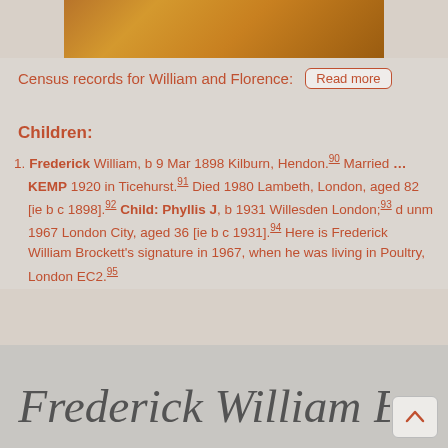[Figure (photo): Top portion of a photo showing autumn leaves or similar natural background in orange/brown tones]
Census records for William and Florence: Read more
Children:
1. Frederick William, b 9 Mar 1898 Kilburn, Hendon.90 Married ... KEMP 1920 in Ticehurst.91 Died 1980 Lambeth, London, aged 82 [ie b c 1898].92 Child: Phyllis J, b 1931 Willesden London;93 d unm 1967 London City, aged 36 [ie b c 1931].94 Here is Frederick William Brockett's signature in 1967, when he was living in Poultry, London EC2.95
[Figure (photo): Handwritten signature of Frederick William Brockett in cursive script on a light background]